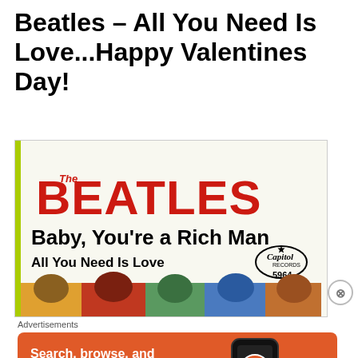Beatles – All You Need Is Love...Happy Valentines Day!
[Figure (illustration): Beatles single record cover: The Beatles - Baby, You're a Rich Man / All You Need Is Love, Capitol Records 5964, with photo strip of band members' heads at bottom]
Advertisements
[Figure (illustration): DuckDuckGo advertisement: Search, browse, and email with more privacy. All in One Free App - showing a phone with DuckDuckGo logo]